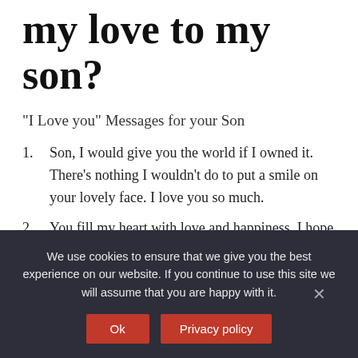my love to my son?
“I Love you” Messages for your Son
Son, I would give you the world if I owned it. There’s nothing I wouldn’t do to put a smile on your lovely face. I love you so much.
You fill my heart with love and happiness. I hope I can give you all the happiness that your heart can contain. I love you, son.
What is a toxic
We use cookies to ensure that we give you the best experience on our website. If you continue to use this site we will assume that you are happy with it.